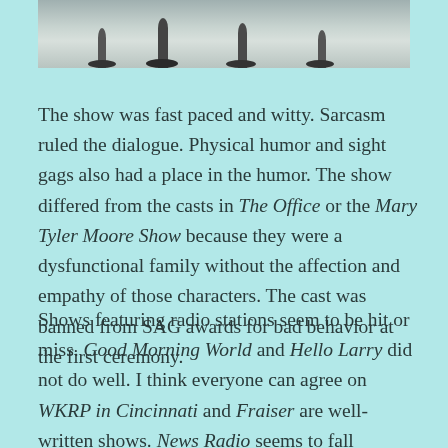[Figure (photo): Partial view of microphone stands on a light grey floor, viewed from above/side showing the bases and stands.]
The show was fast paced and witty.  Sarcasm ruled the dialogue. Physical humor and sight gags also had a place in the humor. The show differed from the casts in The Office or the Mary Tyler Moore Show because they were a dysfunctional family without the affection and empathy of those characters. The cast was banned from SAG awards for bad behavior at the first ceremony.
Shows featuring radio stations seem to be hit or miss.  Good Morning World and Hello Larry did not do well.  I think everyone can agree on WKRP in Cincinnati and Fraiser are well-written shows.  News Radio seems to fall somewhere in the middle.  Some people seem to love it while others thought it missed the mark.  I think the